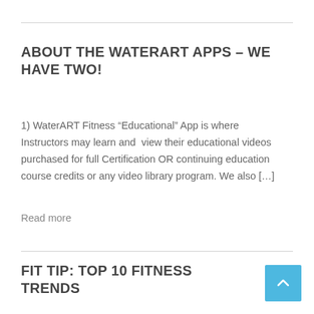ABOUT THE WATERART APPS – WE HAVE TWO!
1) WaterART Fitness “Educational” App is where Instructors may learn and view their educational videos purchased for full Certification OR continuing education course credits or any video library program. We also […]
Read more
FIT TIP: TOP 10 FITNESS TRENDS